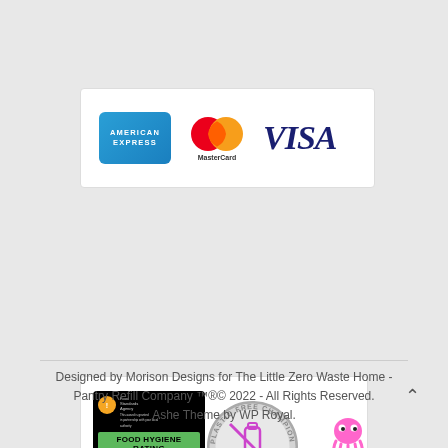[Figure (logo): Payment method logos: American Express, MasterCard, Visa]
[Figure (logo): Three badges: Food Hygiene Rating 5 (Very Good), Plastic Free Champion, Octopus Energy]
Designed by Morison Designs for The Little Zero Waste Home - Pantry Refill Company ™®© 2022 - All Rights Reserved. Ashe Theme by WP Royal.